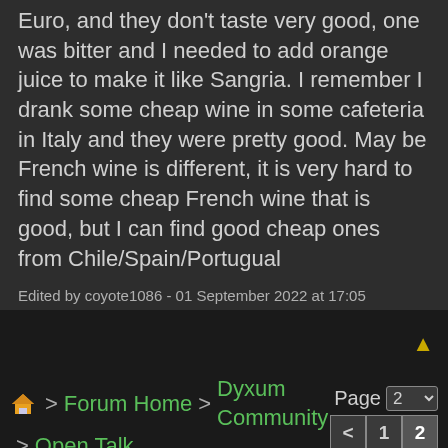Euro, and they don't taste very good, one was bitter and I needed to add orange juice to make it like Sangria. I remember I drank some cheap wine in some cafeteria in Italy and they were pretty good. May be French wine is different, it is very hard to find some cheap French wine that is good, but I can find good cheap ones from Chile/Spain/Portugual
Edited by coyote1086 - 01 September 2022 at 17:05
Home > Forum Home > Dyxum Community > Open Talk   Page 2  < 1 2